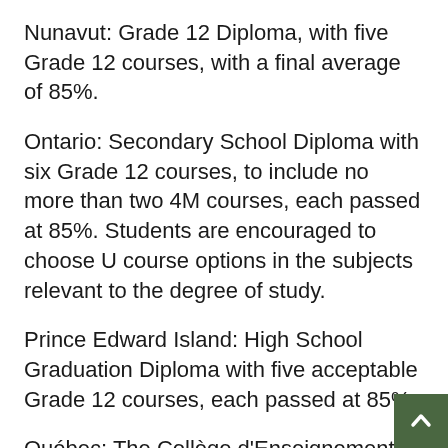Nunavut: Grade 12 Diploma, with five Grade 12 courses, with a final average of 85%.
Ontario: Secondary School Diploma with six Grade 12 courses, to include no more than two 4M courses, each passed at 85%. Students are encouraged to choose U course options in the subjects relevant to the degree of study.
Prince Edward Island: High School Graduation Diploma with five acceptable Grade 12 courses, each passed at 85%.
Québec: The Collège d'Enseignement Général et Professionnel Diplome d'Etudes Collegiales